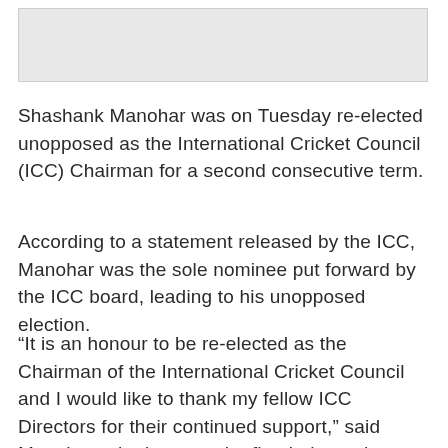[Figure (other): Gray placeholder image box at the top of the page]
Shashank Manohar was on Tuesday re-elected unopposed as the International Cricket Council (ICC) Chairman for a second consecutive term.
According to a statement released by the ICC, Manohar was the sole nominee put forward by the ICC board, leading to his unopposed election.
“It is an honour to be re-elected as the Chairman of the International Cricket Council and I would like to thank my fellow ICC Directors for their continued support,” said Manohar, who became the first independent ICC Chairman in 2016.